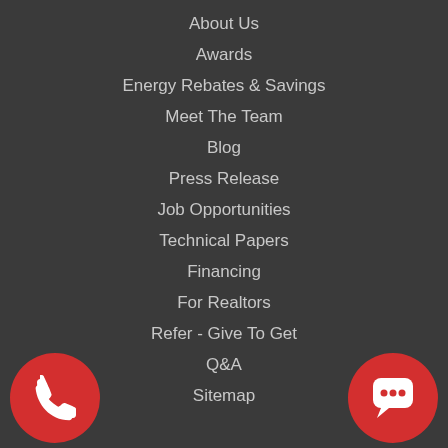About Us
Awards
Energy Rebates & Savings
Meet The Team
Blog
Press Release
Job Opportunities
Technical Papers
Financing
For Realtors
Refer - Give To Get
Q&A
Sitemap
[Figure (illustration): Red circle with white phone icon on bottom left and red circle with white chat bubble icon on bottom right]